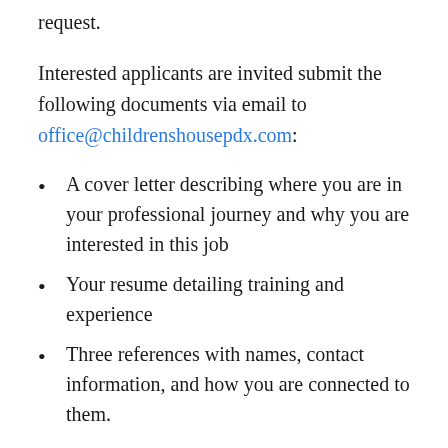request.
Interested applicants are invited submit the following documents via email to office@childrenshousepdx.com:
A cover letter describing where you are in your professional journey and why you are interested in this job
Your resume detailing training and experience
Three references with names, contact information, and how you are connected to them.
MCH does not discriminate on the basis of race, color, national or ethnic origin, sexual orientation, gender identity, religion, physical or mental ability, or any